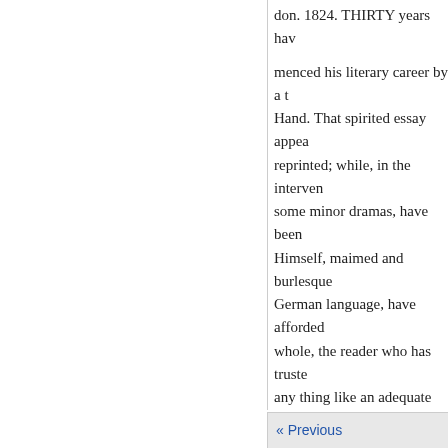don. 1824. THIRTY years hav... menced his literary career by a t... Hand. That spirited essay appea... reprinted; while, in the interven... some minor dramas, have been ... Himself, maimed and burlesque... German language, have afforde... whole, the reader who has truste... any thing like an adequate notio... other person to the continental f... amongst us; although the admira... vulgar neglect, and even for the... Within the last two or three y... Meister has been faithfully, and ... Dublin, has given us several of t... the late Mr. Shelley has bequeat... second edition of a translation o... The German critics distinguish t... conception and the chief part of ... seems, published until long afte...
« Previous